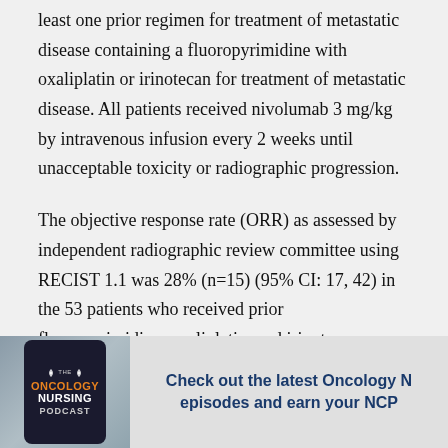least one prior regimen for treatment of metastatic disease containing a fluoropyrimidine with oxaliplatin or irinotecan for treatment of metastatic disease. All patients received nivolumab 3 mg/kg by intravenous infusion every 2 weeks until unacceptable toxicity or radiographic progression.
The objective response rate (ORR) as assessed by independent radiographic review committee using RECIST 1.1 was 28% (n=15) (95% CI: 17, 42) in the 53 patients who received prior fluoropyrimidine, oxaliplatin, and irinotecan. Responses lasted 6 or
[Figure (other): Banner showing The Oncology Nursing Podcast logo on a phone, with text: Check out the latest Oncology N... episodes and earn your NCP...]